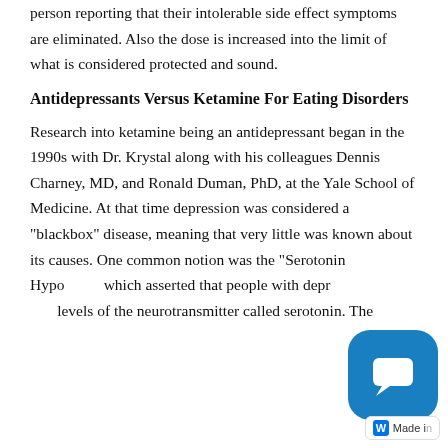person reporting that their intolerable side effect symptoms are eliminated. Also the dose is increased into the limit of what is considered protected and sound.
Antidepressants Versus Ketamine For Eating Disorders
Research into ketamine being an antidepressant began in the 1990s with Dr. Krystal along with his colleagues Dennis Charney, MD, and Ronald Duman, PhD, at the Yale School of Medicine. At that time depression was considered a "blackbox" disease, meaning that very little was known about its causes. One common notion was the “Serotonin Hypo[thesis] which asserted that people with depr[ession had low] levels of the neurotransmitter called serotonin. The